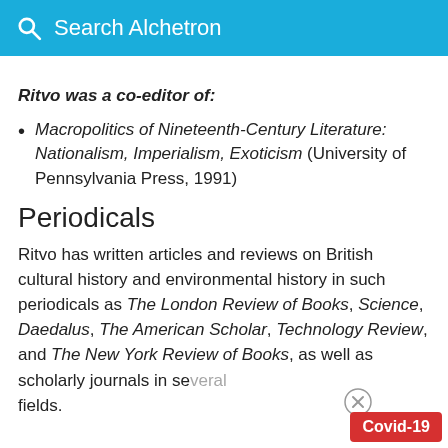Search Alchetron
Ritvo was a co-editor of:
Macropolitics of Nineteenth-Century Literature: Nationalism, Imperialism, Exoticism (University of Pennsylvania Press, 1991)
Periodicals
Ritvo has written articles and reviews on British cultural history and environmental history in such periodicals as The London Review of Books, Science, Daedalus, The American Scholar, Technology Review, and The New York Review of Books, as well as scholarly journals in se fields.